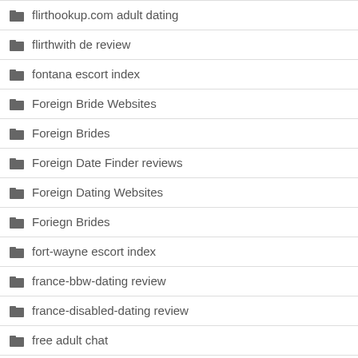flirthookup.com adult dating
flirthwith de review
fontana escort index
Foreign Bride Websites
Foreign Brides
Foreign Date Finder reviews
Foreign Dating Websites
Foriegn Brides
fort-wayne escort index
france-bbw-dating review
france-disabled-dating review
free adult chat